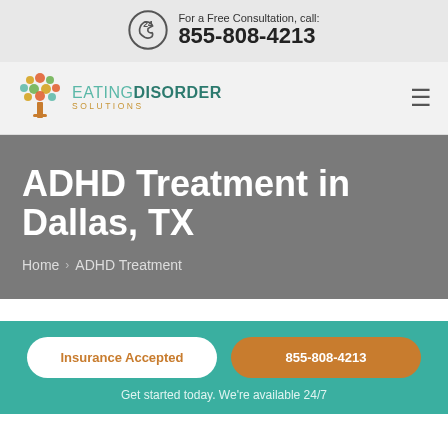For a Free Consultation, call: 855-808-4213
[Figure (logo): Eating Disorder Solutions logo with colorful tree icon]
ADHD Treatment in Dallas, TX
Home > ADHD Treatment
Insurance Accepted
855-808-4213
Get started today. We're available 24/7